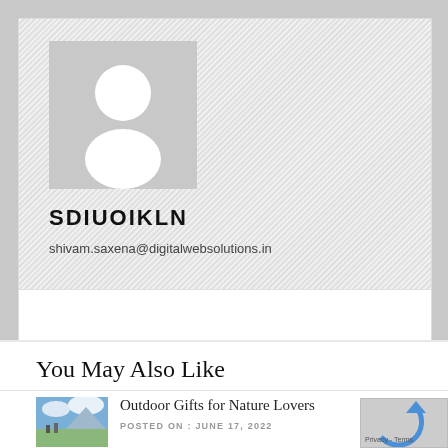[Figure (photo): Default user avatar placeholder image — grey square with white silhouette of a person]
SDIUOIKLN
shivam.saxena@digitalwebsolutions.in
You May Also Like
[Figure (photo): Small thumbnail image of people outdoors in a field with mountains and cloudy sky]
Outdoor Gifts for Nature Lovers
POSTED ON : JUNE 17, 2022